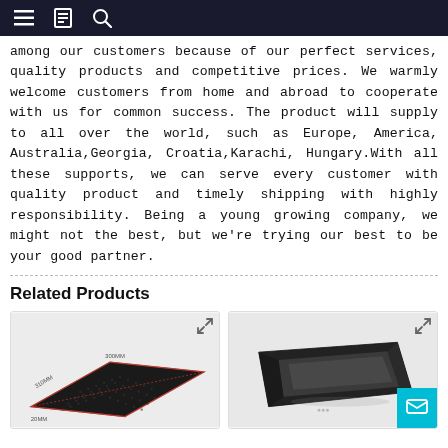Navigation header with menu, document, and search icons
among our customers because of our perfect services, quality products and competitive prices. We warmly welcome customers from home and abroad to cooperate with us for common success. The product will supply to all over the world, such as Europe, America, Australia,Georgia, Croatia,Karachi, Hungary.With all these supports, we can serve every customer with quality product and timely shipping with highly responsibility. Being a young growing company, we might not the best, but we're trying our best to be your good partner.
Related Products
[Figure (photo): Black square perforated/grid baking tray with dimensions labeled 300MM width and 310MM side]
[Figure (photo): Black rectangular baking loaf pan shown at an angle]